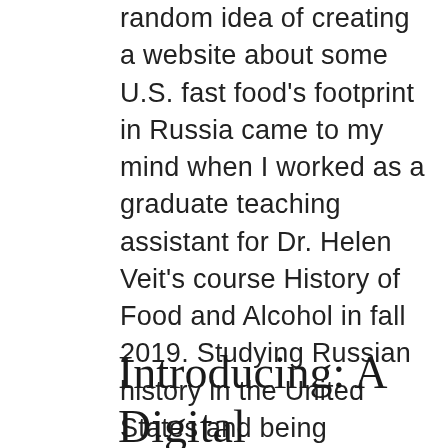random idea of creating a website about some U.S. fast food's footprint in Russia came to my mind when I worked as a graduate teaching assistant for Dr. Helen Veit's course History of Food and Alcohol in fall 2019. Studying Russian history in the United States and being interested in tinkering with geospatial data, I decided to explore the history and geography of one of the U.S. cultural heritages in Russia- fast food restaurants. I am glad that I have eventually materialized the idea. I am very thankful for all the know-how I have acquired in CHI and all the generous help I have received from CHI fellows along the journey.
Introducing: A Digital Domestic Cookbook